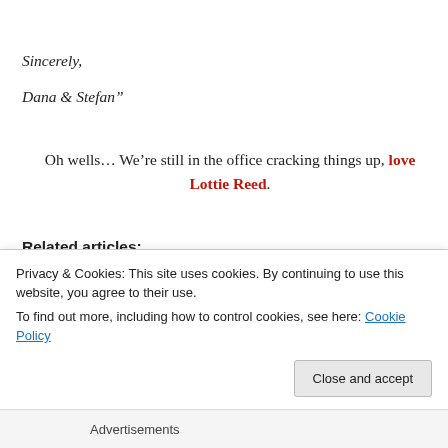Sincerely,
Dana & Stefan”
Oh wells… We’re still in the office cracking things up, love Lottie Reed.
Related articles:
Marketing Interactive: NTUC FairPrice Dinners Leave Bitter Aftertaste
Stomp: German couple’s dinner invite revealed as
Privacy & Cookies: This site uses cookies. By continuing to use this website, you agree to their use. To find out more, including how to control cookies, see here: Cookie Policy
Advertisements